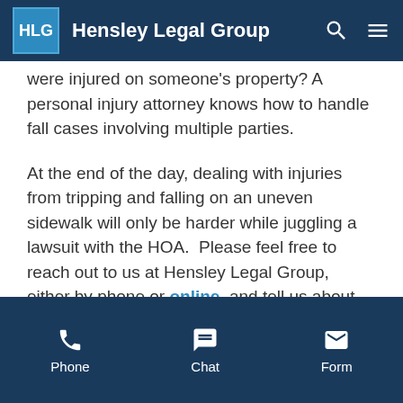Hensley Legal Group
were injured on someone's property? A personal injury attorney knows how to handle fall cases involving multiple parties.
At the end of the day, dealing with injuries from tripping and falling on an uneven sidewalk will only be harder while juggling a lawsuit with the HOA.  Please feel free to reach out to us at Hensley Legal Group, either by phone or online, and tell us about your case. We will do what we can to get the best outcome possible for you.
Phone  Chat  Form